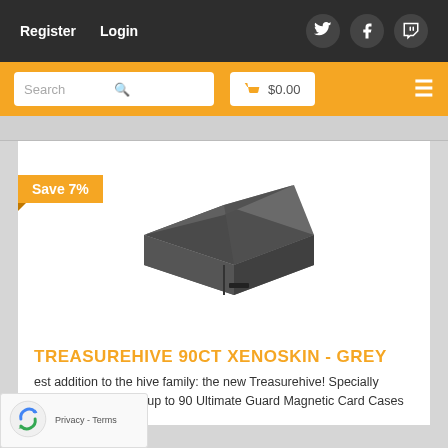Register  Login
Search   $0.00
[Figure (photo): Grey TreasureHive 90ct Xenoskin magnetic card case box, open lid, viewed from front-left angle]
Save 7%
TREASUREHIVE 90CT XENOSKIN - GREY
est addition to the hive family: the new Treasurehive! Specially designed for storing up to 90 Ultimate Guard Magnetic Card Cases